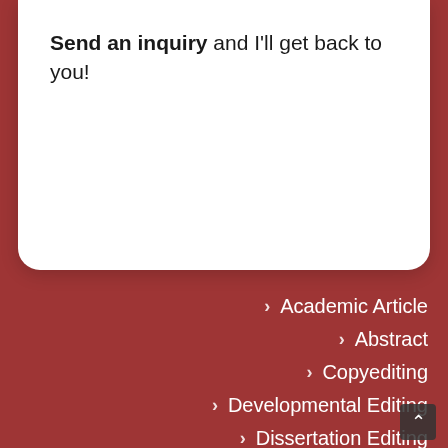Send an inquiry and I'll get back to you!
Academic Article
Abstract
Copyediting
Developmental Editing
Dissertation Editing
Editing Rates
Hebrew to English, English to Hebrew